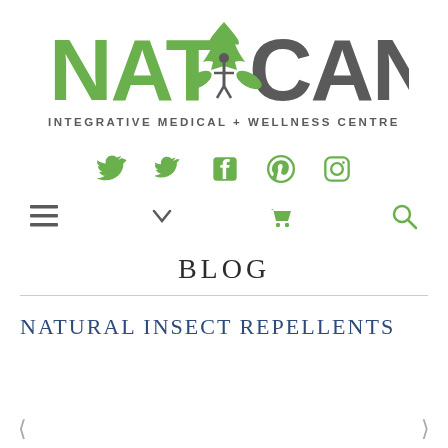[Figure (logo): NatCan Integrative Medical + Wellness Centre logo with green maple leaf and figure design]
[Figure (infographic): Social media icons row: Twitter, Facebook, Pinterest, Instagram in green]
[Figure (infographic): Navigation bar with hamburger menu, dropdown arrow, shopping cart, and search icons]
BLOG
NATURAL INSECT REPELLENTS